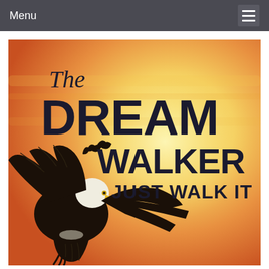Menu
[Figure (illustration): Book cover for 'The Dream Walker – Just Walk It' featuring a bald eagle in flight against an orange and yellow sunset sky background. The title text shows 'The' in italic script, 'DREAM' in large bold sans-serif, 'WALKER' in bold sans-serif, and 'JUST WALK IT' in bold sans-serif below.]